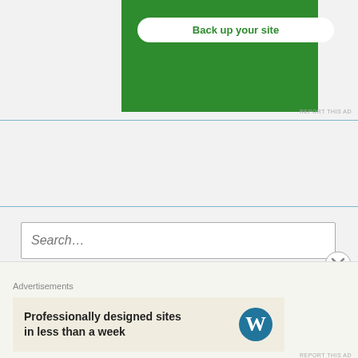[Figure (screenshot): Green advertisement banner with 'Back up your site' button in white with green text]
REPORT THIS AD
Search...
[Figure (screenshot): Follow beccabynature WordPress follow button with follower count 5,179]
Advertisements
[Figure (screenshot): WordPress advertisement: Professionally designed sites in less than a week]